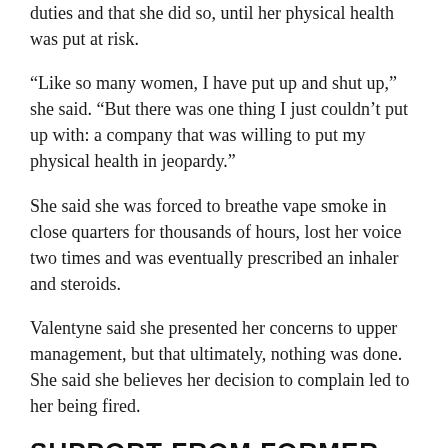…duties and that she did so, until her physical health was put at risk.
“Like so many women, I have put up and shut up,” she said. “But there was one thing I just couldn’t put up with: a company that was willing to put my physical health in jeopardy.”
She said she was forced to breathe vape smoke in close quarters for thousands of hours, lost her voice two times and was eventually prescribed an inhaler and steroids.
Valentyne said she presented her concerns to upper management, but that ultimately, nothing was done. She said she believes her decision to complain led to her being fired.
SUPPORT FROM FORMER